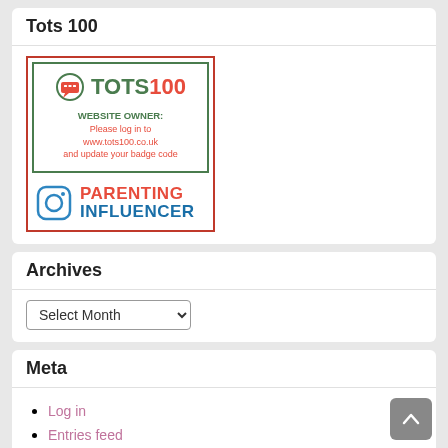Tots 100
[Figure (logo): Tots100 badge with 'TOTS100' logo in green and red, 'WEBSITE OWNER: Please log in to www.tots100.co.uk and update your badge code' message, and 'PARENTING INFLUENCER' with Instagram icon at bottom]
Archives
Select Month (dropdown)
Meta
Log in
Entries feed